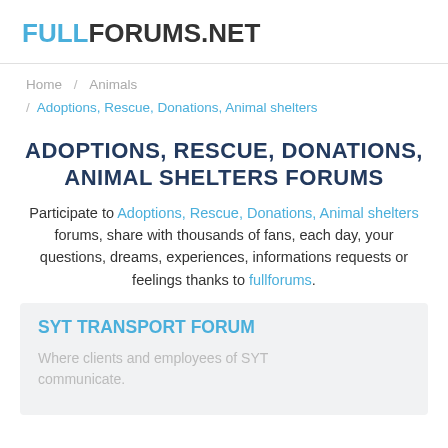FULLFORUMS.NET
Home / Animals / Adoptions, Rescue, Donations, Animal shelters
ADOPTIONS, RESCUE, DONATIONS, ANIMAL SHELTERS FORUMS
Participate to Adoptions, Rescue, Donations, Animal shelters forums, share with thousands of fans, each day, your questions, dreams, experiences, informations requests or feelings thanks to fullforums.
SYT TRANSPORT FORUM
Where clients and employees of SYT communicate.